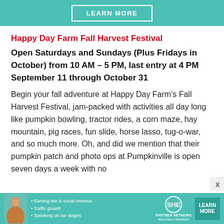[Figure (other): Teal/green banner with 'LEARN MORE' button in white outlined box at top of page]
Happy Day Farm Fall Harvest Festival
Open Saturdays and Sundays (Plus Fridays in October) from 10 AM – 5 PM, last entry at 4 PM September 11 through October 31
Begin your fall adventure at Happy Day Farm's Fall Harvest Festival, jam-packed with activities all day long like pumpkin bowling, tractor rides, a corn maze, hay mountain, pig races, fun slide, horse lasso, tug-o-war, and so much more. Oh, and did we mention that their pumpkin patch and photo ops at Pumpkinville is open seven days a week with no
[Figure (other): SHE Partner Network advertisement banner at bottom with photo of woman, bullet points, SHE logo, and Learn More button]